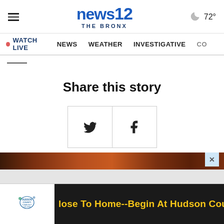news12 THE BRONX — WATCH LIVE | NEWS | WEATHER | INVESTIGATIVE
72°
Share this story
[Figure (screenshot): Social share buttons: Twitter (bird icon) and Facebook (f icon) side by side in a bordered container]
[Figure (screenshot): Advertisement banner with dark brown/maroon background at top, followed by Hudson County Community College ad with logo and text: 'Close To Home--Begin At Hudson County']